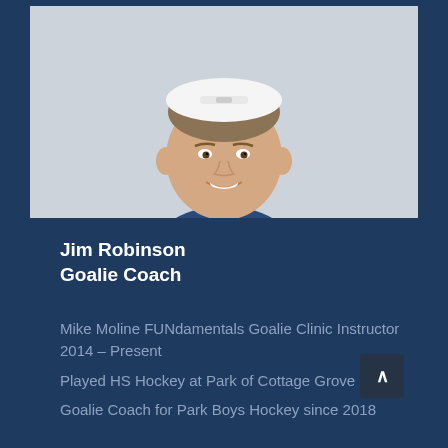[Figure (photo): Headshot photo of Jim Robinson, a man wearing a white baseball cap turned backwards, smiling, against a light gray background]
Jim Robinson
Goalie Coach
Mike Moline FUNdamentals Goalie Clinic Instructor 2014 – Present
Played HS Hockey at Park of Cottage Grove
Goalie Coach for Park Boys Hockey since 2018